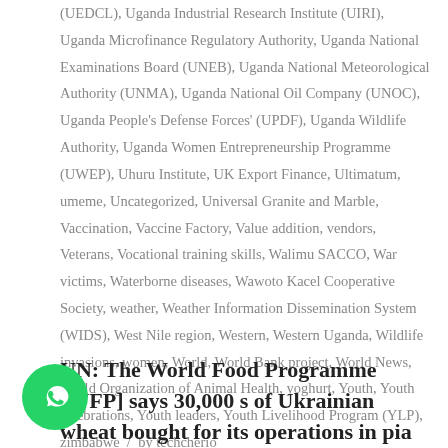(UEDCL), Uganda Industrial Research Institute (UIRI), Uganda Microfinance Regulatory Authority, Uganda National Examinations Board (UNEB), Uganda National Meteorological Authority (UNMA), Uganda National Oil Company (UNOC), Uganda People's Defense Forces' (UPDF), Uganda Wildlife Authority, Uganda Women Entrepreneurship Programme (UWEP), Uhuru Institute, UK Export Finance, Ultimatum, umeme, Uncategorized, Universal Granite and Marble, Vaccination, Vaccine Factory, Value addition, vendors, Veterans, Vocational training skills, Walimu SACCO, War victims, Waterborne diseases, Wawoto Kacel Cooperative Society, weather, Weather Information Dissemination System (WIDS), West Nile region, Western, Western Uganda, Wildlife invasions, women, World, World Bank project, World News, World Organization of Animal Health, yoghurt, Youth, Youth celebrations, Youth leaders, Youth Livelihood Program (YLP), zimbabwe / by techcherio
UN: The World Food Programme [WFP] says 30,000 s of Ukrainian wheat bought for its operations in pia is expected to arrive in neighbouring Djibouti next week